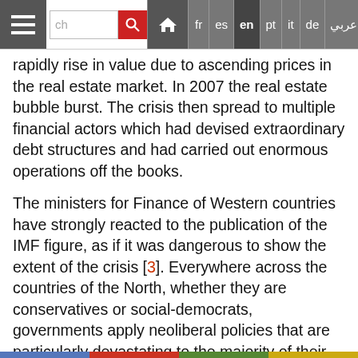Navigation bar with hamburger menu, search box, home icon, and language options: fr, es, en (active), pt, it, de, Arabic
rapidly rise in value due to ascending prices in the real estate market. In 2007 the real estate bubble burst. The crisis then spread to multiple financial actors which had devised extraordinary debt structures and had carried out enormous operations off the books.
The ministers for Finance of Western countries have strongly reacted to the publication of the IMF figure, as if it was dangerous to show the extent of the crisis [3]. Everywhere across the countries of the North, whether they are conservatives or social-democrats, governments apply neoliberal policies that are particularly devastating to the majority of their citizens. The level of social services is voluntarily and severely curtailed, the profits of big capital are ignored, while the rate of VAT, which affects the poor to a greater degree than the rich, is increased.
These same governments, which are unable to help their needy populations, quickly came to the rescue of